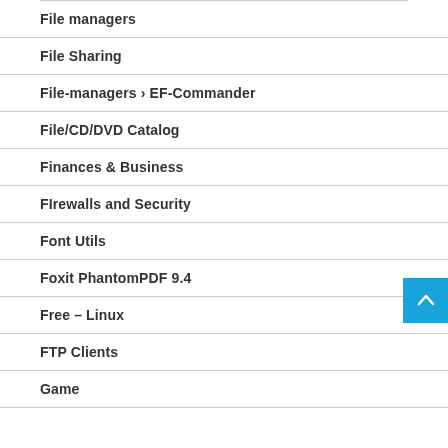File managers
File Sharing
File-managers › EF-Commander
File/CD/DVD Catalog
Finances & Business
FIrewalls and Security
Font Utils
Foxit PhantomPDF 9.4
Free – Linux
FTP Clients
Game